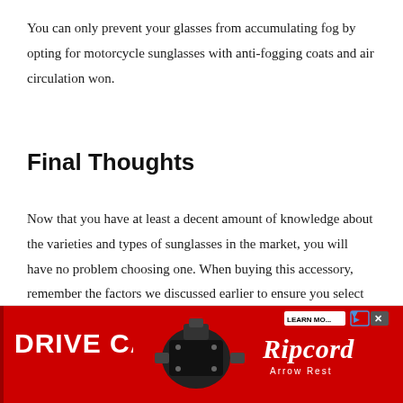You can only prevent your glasses from accumulating fog by opting for motorcycle sunglasses with anti-fogging coats and air circulation won.
Final Thoughts
Now that you have at least a decent amount of knowledge about the varieties and types of sunglasses in the market, you will have no problem choosing one. When buying this accessory, remember the factors we discussed earlier to ensure you select the right product.
[Figure (other): Advertisement banner for 'Drive Cage' product by Ripcord Arrow Rest. Red background with white bold text 'DRIVE CAGE' on left, a black mechanical device/accessory photo in center, and Ripcord Arrow Rest logo in italic on right with a 'Learn More' button and close/X buttons.]